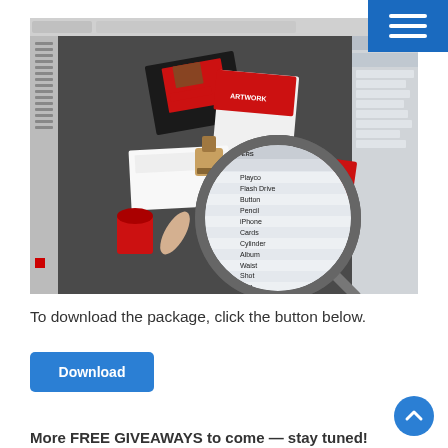[Figure (screenshot): Screenshot of Adobe Photoshop showing a branding/stationery mockup with red, black and white design elements (folders, business cards, envelope, USB drive, pen, stamp, phone) and a magnifying glass zoom on the layers panel listing: Playco, Flash Drive, Button, Pencil, iPhone, Cards, Cylinder, Album, Waist, Shot, Pen, Tie, Folded Letterhead, Folder, Envelope]
To download the package, click the button below.
[Figure (other): Blue Download button]
[Figure (other): Blue circular scroll-to-top arrow button]
More FREE GIVEAWAYS to come — stay tuned!